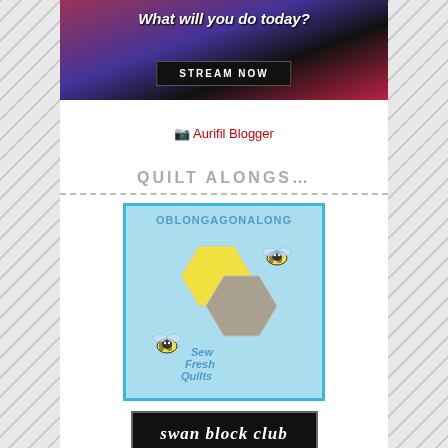[Figure (illustration): Banner advertisement with text 'What will you do today?' and a black button reading 'STREAM NOW'. Background shows colorful street scene.]
Aurifil Blogger
QUILT ALONGS...
[Figure (logo): OBLONGAGONALONG badge. Light blue background with two overlapping hexagons (yellow and grey/tan), two cartoon bees, and text 'Sew Fresh Quilts'. Framed with teal border.]
[Figure (logo): Partial black banner with stylized white text reading 'swan block club' (partially visible at bottom of page).]